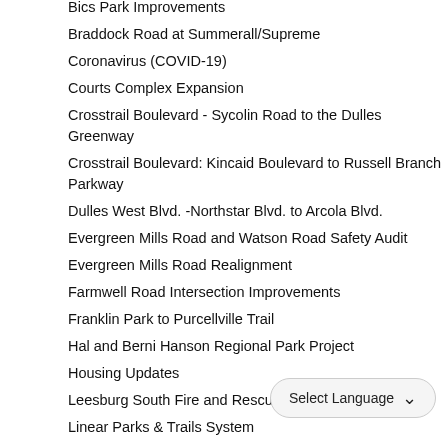Bics Park Improvements
Braddock Road at Summerall/Supreme
Coronavirus (COVID-19)
Courts Complex Expansion
Crosstrail Boulevard - Sycolin Road to the Dulles Greenway
Crosstrail Boulevard: Kincaid Boulevard to Russell Branch Parkway
Dulles West Blvd. -Northstar Blvd. to Arcola Blvd.
Evergreen Mills Road and Watson Road Safety Audit
Evergreen Mills Road Realignment
Farmwell Road Intersection Improvements
Franklin Park to Purcellville Trail
Hal and Berni Hanson Regional Park Project
Housing Updates
Leesburg South Fire and Rescue Station
Linear Parks & Trails System
Lovettsville Community Center
Lovettsville District Park
Lovettsville Fire and Rescue Station
Lucketts Fire and Rescue Station Replacement